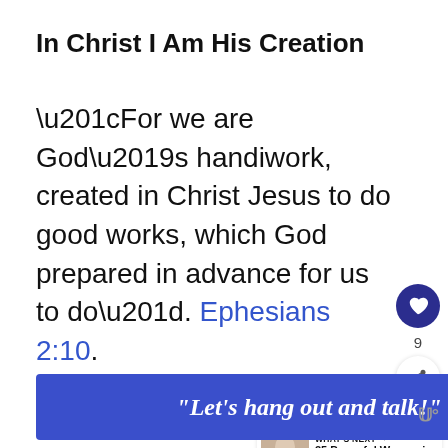In Christ I Am His Creation
“For we are God’s handiwork, created in Christ Jesus to do good works, which God prepared in advance for us to do”. Ephesians 2:10.
ADVERTISEMENT
WHAT’S NEXT → 25 Powerful Women in th...
[Figure (other): Blue advertisement banner with italic bold white text: “Let’s hang out and talk!” and a watermark logo on the right]